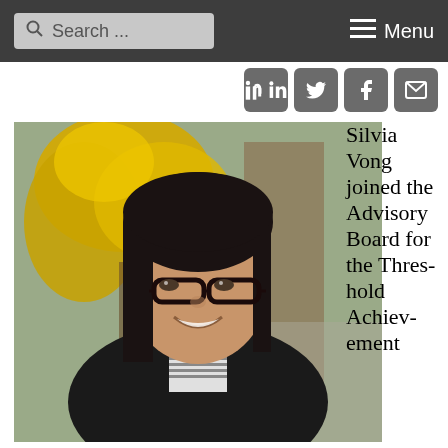Search ... Menu
[Figure (photo): Social media share icons: LinkedIn, Twitter, Facebook, Email]
[Figure (photo): Portrait photo of Silvia Vong, a woman with black-rimmed glasses and dark hair, smiling, wearing a black blazer over a striped shirt, outdoors with yellow flowering tree in background]
Silvia Vong joined the Advisory Board for the Threshold Achievement